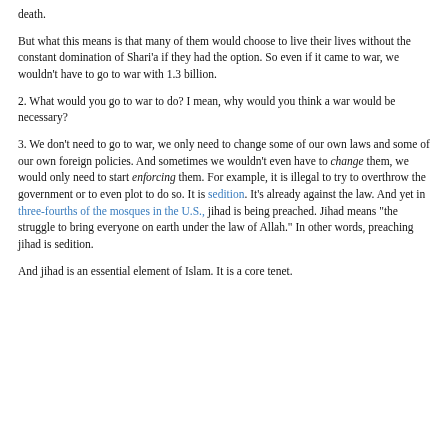death.
But what this means is that many of them would choose to live their lives without the constant domination of Shari'a if they had the option. So even if it came to war, we wouldn't have to go to war with 1.3 billion.
2. What would you go to war to do? I mean, why would you think a war would be necessary?
3. We don't need to go to war, we only need to change some of our own laws and some of our own foreign policies. And sometimes we wouldn't even have to change them, we would only need to start enforcing them. For example, it is illegal to try to overthrow the government or to even plot to do so. It is sedition. It's already against the law. And yet in three-fourths of the mosques in the U.S., jihad is being preached. Jihad means "the struggle to bring everyone on earth under the law of Allah." In other words, preaching jihad is sedition.
And jihad is an essential element of Islam. It is a core tenet.